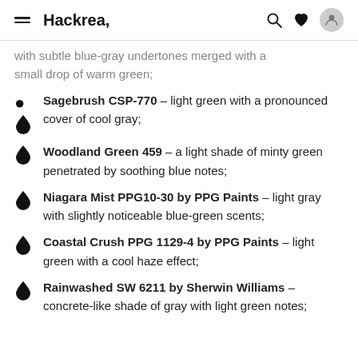Hackrea,
with subtle blue-gray undertones merged with a small drop of warm green;
Sagebrush CSP-770 – light green with a pronounced cover of cool gray;
Woodland Green 459 – a light shade of minty green penetrated by soothing blue notes;
Niagara Mist PPG10-30 by PPG Paints – light gray with slightly noticeable blue-green scents;
Coastal Crush PPG 1129-4 by PPG Paints – light green with a cool haze effect;
Rainwashed SW 6211 by Sherwin Williams – concrete-like shade of gray with light green notes;